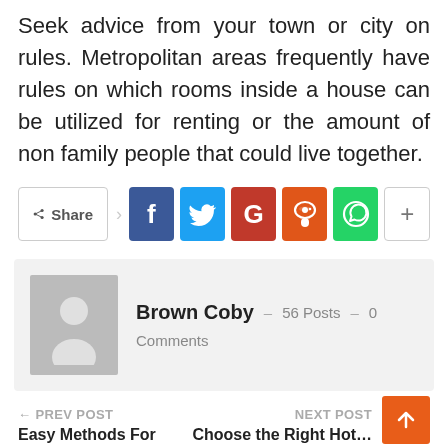Seek advice from your town or city on rules. Metropolitan areas frequently have rules on which rooms inside a house can be utilized for renting or the amount of non family people that could live together.
[Figure (infographic): Social share button row: Share button, Facebook (f), Twitter (bird), Google (G), Reddit (alien), WhatsApp (phone), and a plus (+) button]
Brown Coby – 56 Posts – 0 Comments
← PREV POST
Easy Methods For
NEXT POST
Choose the Right Hot…